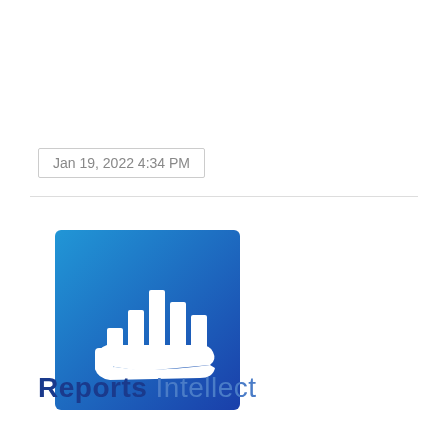Jan 19, 2022 4:34 PM
[Figure (logo): Reports Intellect logo: blue gradient square with white bar chart icon held by a white hand icon]
Reports Intellect